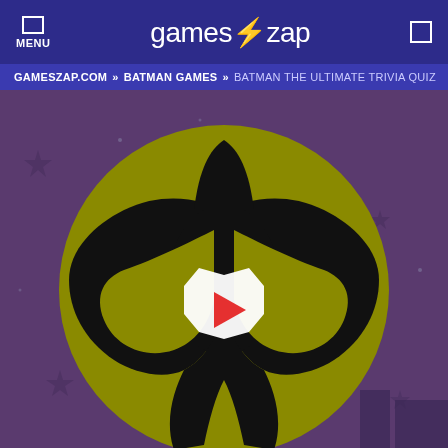MENU | games⚡zap
GAMESZAP.COM » BATMAN GAMES » BATMAN THE ULTIMATE TRIVIA QUIZ
[Figure (screenshot): Batman the Ultimate Trivia Quiz game screenshot showing Batman logo (yellow circle with black bat silhouette) on a purple starry background, with a white octagonal play button overlay containing a red play triangle in the center.]